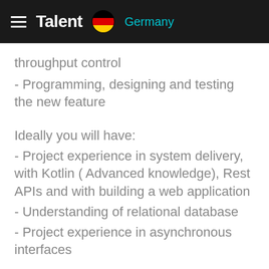Talent Germany
throughput control
- Programming, designing and testing the new feature
Ideally you will have:
- Project experience in system delivery, with Kotlin ( Advanced knowledge), Rest APIs and with building a web application
- Understanding of relational database
- Project experience in asynchronous interfaces